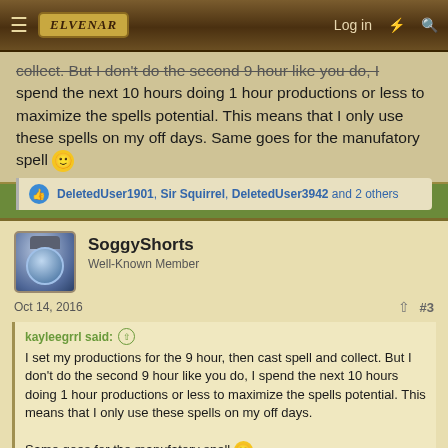Elvenar forum navigation bar with Log in link
collect. But I don't do the second 9 hour like you do, I spend the next 10 hours doing 1 hour productions or less to maximize the spells potential. This means that I only use these spells on my off days. Same goes for the manufatory spell 🙂
DeletedUser1901, Sir Squirrel, DeletedUser3942 and 2 others
SoggyShorts
Well-Known Member
Oct 14, 2016
#3
kayleegrrl said:
I set my productions for the 9 hour, then cast spell and collect. But I don't do the second 9 hour like you do, I spend the next 10 hours doing 1 hour productions or less to maximize the spells potential. This means that I only use these spells on my off days. Same goes for the manufatory spell 🙂